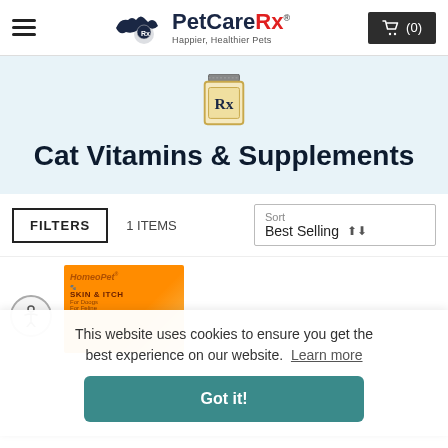PetCareRx — Happier, Healthier Pets — Cart (0)
[Figure (logo): PetCareRx logo with running cat/dog silhouette, text PetCareRx and tagline Happier, Healthier Pets]
[Figure (illustration): Rx medicine bottle icon in teal/gold line art style]
Cat Vitamins & Supplements
FILTERS   1 ITEMS   Sort Best Selling
This website uses cookies to ensure you get the best experience on our website.  Learn more
Got it!
[Figure (photo): HomePet Skin & Itch product package partially visible]